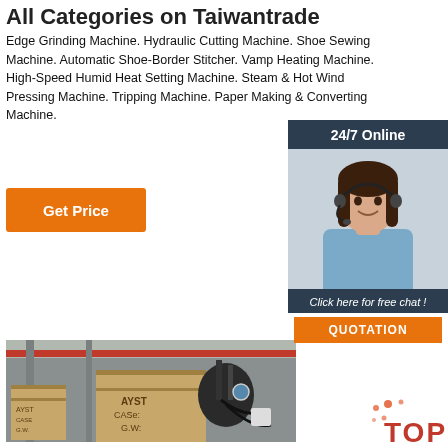All Categories on Taiwantrade
Edge Grinding Machine. Hydraulic Cutting Machine. Shoe Sewing Machine. Automatic Shoe-Border Stitcher. Vamp Heating Machine. High-Speed Humid Heat Setting Machine. Steam & Hot Wind Pressing Machine. Tripping Machine. Paper Making & Converting Machine.
Get Price
[Figure (photo): Customer service representative with headset, 24/7 Online chat widget overlay with navy background, 'Click here for free chat!' text and orange QUOTATION button]
[Figure (photo): Factory floor with industrial machinery, wooden crates labeled AYST CASE, G.W., and complex machine components with hoses and wiring]